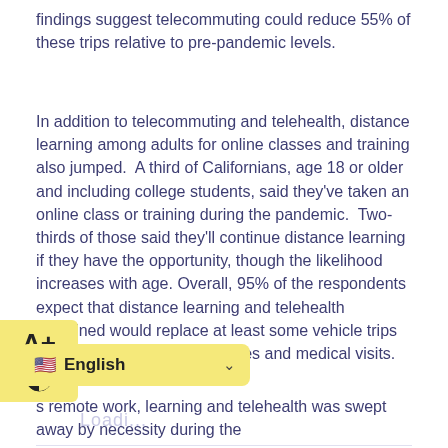findings suggest telecommuting could reduce 55% of these trips relative to pre-pandemic levels.
In addition to telecommuting and telehealth, distance learning among adults for online classes and training also jumped. A third of Californians, age 18 or older and including college students, said they've taken an online class or training during the pandemic. Two-thirds of those said they'll continue distance learning if they have the opportunity, though the likelihood increases with age. Overall, 95% of the respondents expect that distance learning and telehealth combined would replace at least some vehicle trips for traditional in-person courses and medical visits.
…s remote work, learning and telehealth was swept away by necessity during the